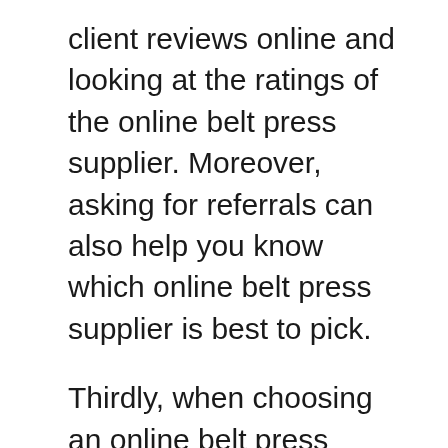client reviews online and looking at the ratings of the online belt press supplier. Moreover, asking for referrals can also help you know which online belt press supplier is best to pick.
Thirdly, when choosing an online belt press supplier you need to make sure that we schedule an appointment. Through the appointment, you will get to learn so much about the online belt press supplier. This is because you can easily get to ask all the important questions you have. You can get to ask the online belt press supplier about the expertise. Moreover, you can get to ask the online belt press supplier to inform you of the rates they charge for the belt press for sale they provide. In addition, you will also